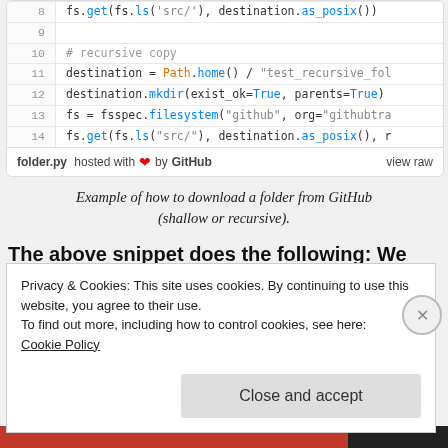[Figure (screenshot): Code snippet showing Python code for recursive folder download from GitHub. Lines 8-14 visible with syntax highlighting. Footer shows 'folder.py hosted with heart by GitHub' and 'view raw' link.]
Example of how to download a folder from GitHub (shallow or recursive).
The above snippet does the following: We
Privacy & Cookies: This site uses cookies. By continuing to use this website, you agree to their use.
To find out more, including how to control cookies, see here:
Cookie Policy